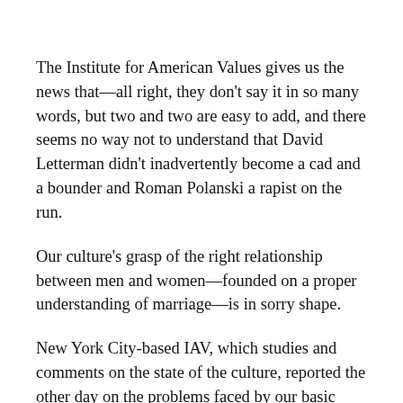The Institute for American Values gives us the news that—all right, they don't say it in so many words, but two and two are easy to add, and there seems no way not to understand that David Letterman didn't inadvertently become a cad and a bounder and Roman Polanski a rapist on the run.
Our culture's grasp of the right relationship between men and women—founded on a proper understanding of marriage—is in sorry shape.
New York City-based IAV, which studies and comments on the state of the culture, reported the other day on the problems faced by our basic civilizing institution, the family. The report packs no surprises, at least for Americans old enough to have glumly watched the steady erosion of valuable inhibitions on wrong